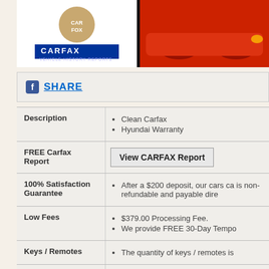[Figure (photo): CARFAX Vehicle History Reports banner with mascot and red car]
f SHARE
| Label | Content |
| --- | --- |
| Description | Clean Carfax
Hyundai Warranty |
| FREE Carfax Report | View CARFAX Report (button) |
| 100% Satisfaction Guarantee | After a $200 deposit, our cars ca... is non-refundable and payable dire... |
| Low Fees | $379.00 Processing Fee.
We provide FREE 30-Day Tempo... |
| Keys / Remotes | The quantity of keys / remotes is... |
| Shipping | We ship anywhere in the United... destination. |
| Contact | EuroCars LLC
3515 Centre Circle #106
Fort Mill, SC 29715
Phone: (803) 426-3208 | FAX (866)...
Facebook Home: http://www.facebo... |
| Financing | EUROCARS logo |